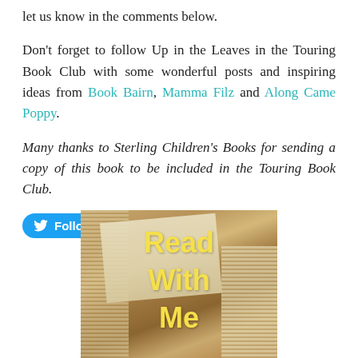let us know in the comments below.
Don't forget to follow Up in the Leaves in the Touring Book Club with some wonderful posts and inspiring ideas from Book Bairn, Mamma Filz and Along Came Poppy.
Many thanks to Sterling Children's Books for sending a copy of this book to be included in the Touring Book Club.
[Figure (other): Twitter Follow button for @Acornbooks with Twitter bird icon on blue rounded button]
[Figure (photo): Photo of stacked open books with yellow text overlay reading 'Read With Me']